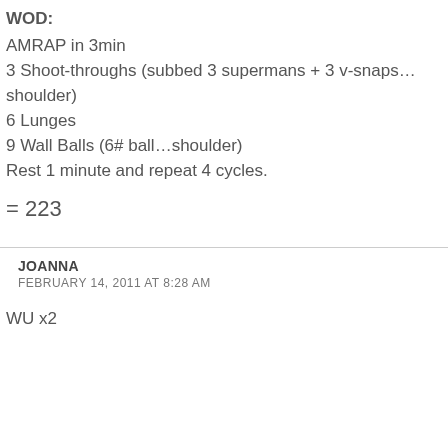WOD:
AMRAP in 3min
3 Shoot-throughs (subbed 3 supermans + 3 v-snaps… shoulder)
6 Lunges
9 Wall Balls (6# ball…shoulder)
Rest 1 minute and repeat 4 cycles.
= 223
JOANNA
FEBRUARY 14, 2011 AT 8:28 AM
WU x2